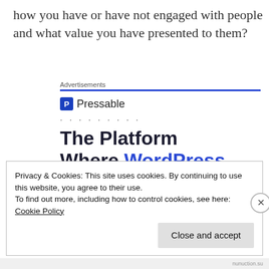how you have or have not engaged with people and what value you have presented to them?
[Figure (other): Advertisement banner for Pressable featuring logo with 'P' icon and headline 'The Platform Where WordPress Works Best']
Privacy & Cookies: This site uses cookies. By continuing to use this website, you agree to their use.
To find out more, including how to control cookies, see here: Cookie Policy
Close and accept